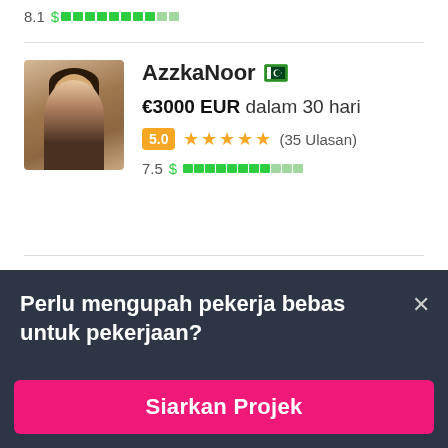8.1 $ [progress bar]
AzzkaNoor [Pakistan flag] €3000 EUR dalam 30 hari 5.0 ★★★★★ (35 Ulasan) 7.5 $ [progress bar]
Perlu mengupah pekerja bebas untuk pekerjaan?
Siarkan Projek